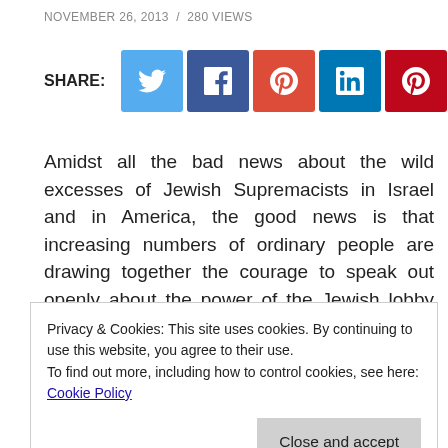NOVEMBER 26, 2013 / 280 VIEWS
[Figure (infographic): Social share buttons row: Twitter (light blue), Facebook (dark blue), Google+ (red-orange), LinkedIn (teal/blue), Pinterest (dark red), Email (teal). Label SHARE: on left.]
Amidst all the bad news about the wild excesses of Jewish Supremacists in Israel and in America, the good news is that increasing numbers of ordinary people are drawing together the courage to speak out openly about the power of the Jewish lobby and its
Privacy & Cookies: This site uses cookies. By continuing to use this website, you agree to their use.
To find out more, including how to control cookies, see here: Cookie Policy
Close and accept
Affairs at the Naval Postgraduate School in Monterey, CA, where he is teaching courses on Middle East